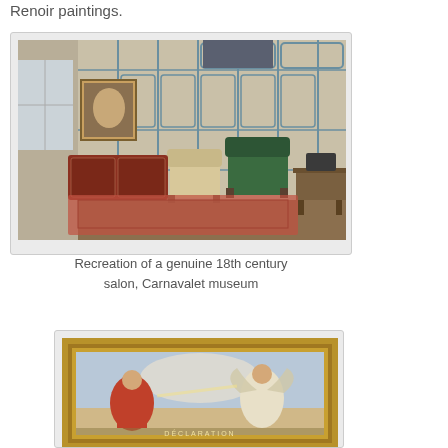Renoir paintings.
[Figure (photo): Interior of an 18th century salon recreation at the Carnavalet museum, showing ornate blue and cream paneled walls, a red lacquered commode, a green velvet chaise longue, a portrait in a gilded frame, and period furniture.]
Recreation of a genuine 18th century salon, Carnavalet museum
[Figure (photo): A framed painting showing allegorical figures, partially visible, with the word DÉCLARATION visible at the bottom of the frame.]